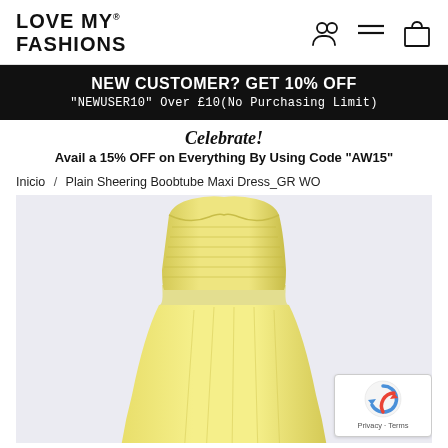LOVE MY FASHIONS
NEW CUSTOMER? GET 10% OFF
"NEWUSER10" Over £10(No Purchasing Limit)
Celebrate!
Avail a 15% OFF on Everything By Using Code "AW15"
Inicio / Plain Sheering Boobtube Maxi Dress_GR WO
[Figure (photo): Yellow strapless boobtube maxi dress on a light lavender/grey background]